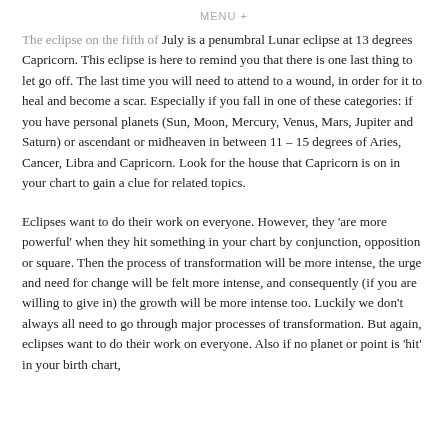MENU +
The eclipse on the fifth of July is a penumbral Lunar eclipse at 13 degrees Capricorn. This eclipse is here to remind you that there is one last thing to let go off. The last time you will need to attend to a wound, in order for it to heal and become a scar. Especially if you fall in one of these categories: if you have personal planets (Sun, Moon, Mercury, Venus, Mars, Jupiter and Saturn) or ascendant or midheaven in between 11 – 15 degrees of Aries, Cancer, Libra and Capricorn. Look for the house that Capricorn is on in your chart to gain a clue for related topics.
Eclipses want to do their work on everyone. However, they ‘are more powerful’ when they hit something in your chart by conjunction, opposition or square. Then the process of transformation will be more intense, the urge and need for change will be felt more intense, and consequently (if you are willing to give in) the growth will be more intense too. Luckily we don’t always all need to go through major processes of transformation. But again, eclipses want to do their work on everyone. Also if no planet or point is ‘hit’ in your birth chart,